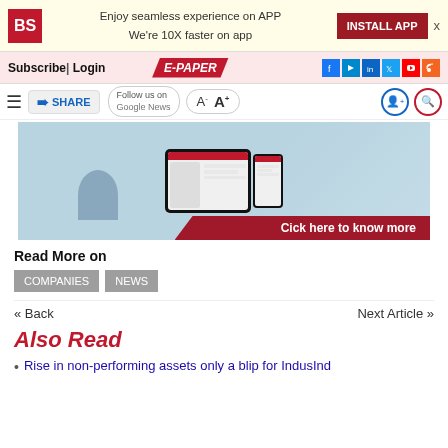BS logo | Enjoy seamless experience on APP | We're 10X faster on app | INSTALL APP
Subscribe | Login | E-PAPER | Social icons
Menu | SHARE | Follow us on Google News | A- A+ | user icon | search icon
[Figure (screenshot): Business Standard e-paper ad banner showing tablet and phone devices with 'Cick here to know more' CTA]
Read More on
COMPANIES | NEWS
« Back   Next Article »
Also Read
Rise in non-performing assets only a blip for IndusInd